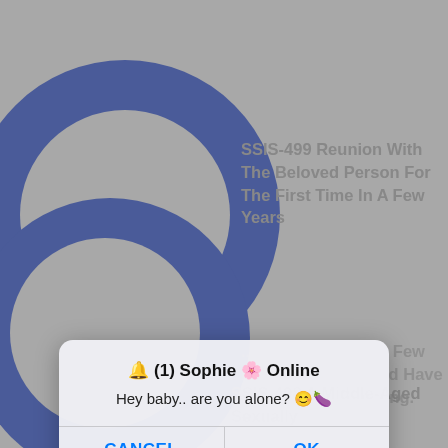[Figure (screenshot): Mobile app screenshot background showing blue circular logo elements and faded text content behind a dialog overlay]
SSIS-499 Reunion With The Beloved Person For The First Time In A Few Years
SSIS-498 A Middle-Aged Sexually
🔔 (1) Sophie 🌸 Online
Hey baby.. are you alone? 😊🍆
CANCEL
OK